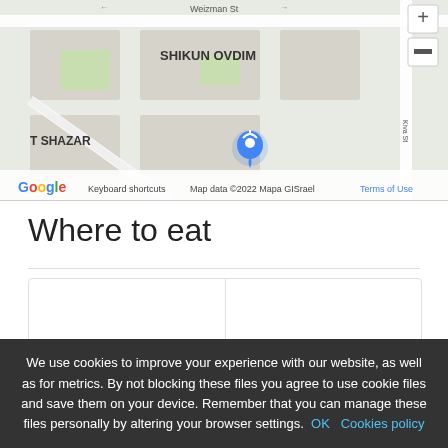[Figure (map): Google Maps screenshot showing Shikun Ovdim area with streets including Weizman St and Kiva St, with a location pin marker. Map data ©2022 Mapa GISrael.]
Where to eat
[Figure (other): Restaurant listing cards showing 'Pazzo' (34) with yellow/teal logo and 'מיגן' (191) with a circular D Market logo]
We use cookies to improve your experience with our website, as well as for metrics. By not blocking these files you agree to use cookie files and save them on your device. Remember that you can manage these files personally by altering your browser settings. OK Cookies policy